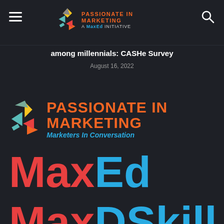PASSIONATE IN MARKETING - A MaxEd INITIATIVE (hamburger menu + search icon)
among millennials: CASHe Survey
August 16, 2022
[Figure (logo): Passionate In Marketing logo with rocket icon and tagline Marketers In Conversation]
[Figure (logo): MaxEd logo in large text, Max in red and Ed in blue]
[Figure (logo): MaxDSkill logo partially visible, Max in red and DSkill in blue]